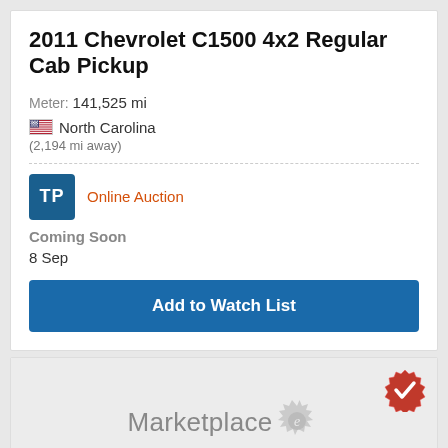2011 Chevrolet C1500 4x2 Regular Cab Pickup
Meter: 141,525 mi
North Carolina
(2,194 mi away)
Online Auction
Coming Soon
8 Sep
Add to Watch List
[Figure (logo): Marketplace e logo — An IronPlanet solution watermark on gray background with orange verified badge in top right corner and back-to-top arrow button]